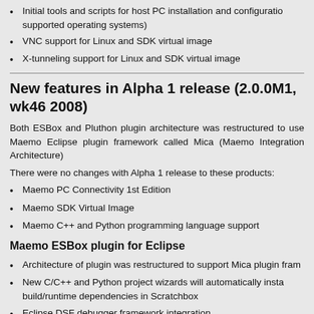Initial tools and scripts for host PC installation and configuration supported operating systems)
VNC support for Linux and SDK virtual image
X-tunneling support for Linux and SDK virtual image
New features in Alpha 1 release (2.0.0M1, wk46 2008)
Both ESBox and Pluthon plugin architecture was restructured to use Maemo Eclipse plugin framework called Mica (Maemo Integration Architecture)
There were no changes with Alpha 1 release to these products:
Maemo PC Connectivity 1st Edition
Maemo SDK Virtual Image
Maemo C++ and Python programming language support
Maemo ESBox plugin for Eclipse
Architecture of plugin was restructured to support Mica plugin fram
New C/C++ and Python project wizards will automatically install build/runtime dependencies in Scratchbox
Eclipse DSF debugger framework integration
New target engine redesigned for C/C++ and Pyth...